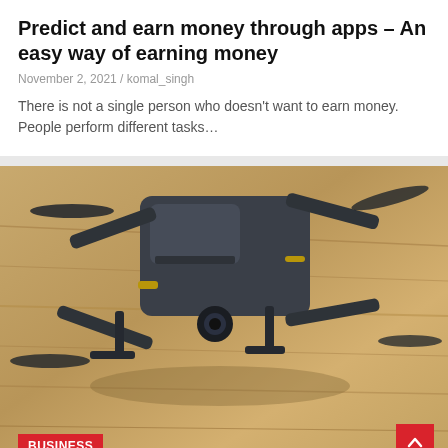Predict and earn money through apps – An easy way of earning money
November 2, 2021 / komal_singh
There is not a single person who doesn't want to earn money. People perform different tasks…
[Figure (photo): A dark grey quadcopter drone resting on a wooden surface, shot from a low angle. A red BUSINESS badge is overlaid in the bottom-left corner, and a red scroll-to-top arrow button appears in the bottom-right corner.]
Why the sudden surge in demand for GPR for